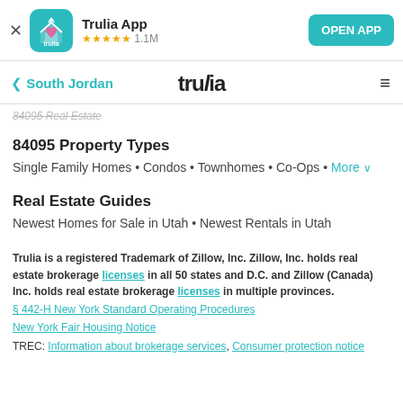[Figure (screenshot): Trulia app banner with icon, star rating 1.1M reviews, and OPEN APP button]
South Jordan | trulia | ☰
84095 Real Estate
84095 Property Types
Single Family Homes • Condos • Townhomes • Co-Ops • More ∨
Real Estate Guides
Newest Homes for Sale in Utah • Newest Rentals in Utah
Trulia is a registered Trademark of Zillow, Inc. Zillow, Inc. holds real estate brokerage licenses in all 50 states and D.C. and Zillow (Canada) Inc. holds real estate brokerage licenses in multiple provinces.
§ 442-H New York Standard Operating Procedures
New York Fair Housing Notice
TREC: Information about brokerage services, Consumer protection notice